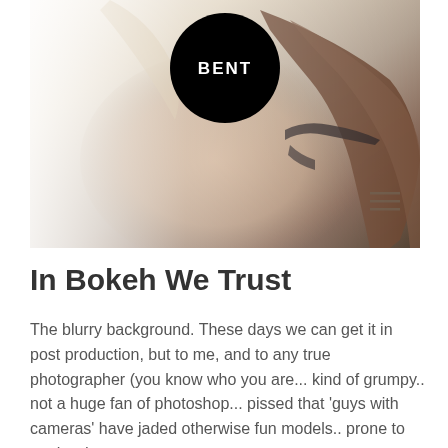[Figure (photo): A photo of a person facing away, with long brown hair, wearing a dark bra strap. The image is brightly lit on the left side and darker on the right. A black circle logo with 'BENT' text is overlaid at the top center. A hamburger menu icon appears at the bottom right.]
In Bokeh We Trust
The blurry background. These days we can get it in post production, but to me, and to any true photographer (you know who you are... kind of grumpy.. not a huge fan of photoshop... pissed that 'guys with cameras' have jaded otherwise fun models.. prone to get hard